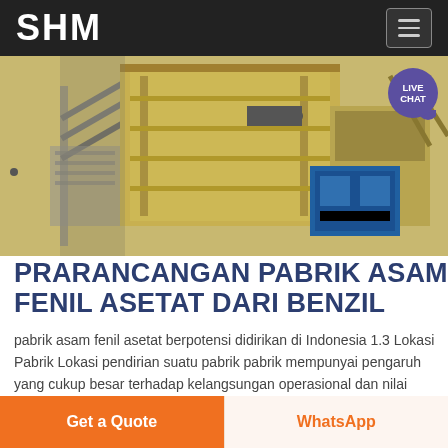SHM
[Figure (photo): Industrial mining or chemical plant equipment — large yellow metal structures, conveyors, hoppers, and a blue hydraulic unit on a construction site]
PRARANCANGAN PABRIK ASAM FENIL ASETAT DARI BENZIL
pabrik asam fenil asetat berpotensi didirikan di Indonesia 1.3 Lokasi Pabrik Lokasi pendirian suatu pabrik pabrik mempunyai pengaruh yang cukup besar terhadap kelangsungan operasional dan nilai ekonomis pabrik itu sendiri.Pabrik asam fenil asetat ini direncanakan akan dibangun di kawasan industri
Get a Quote   WhatsApp